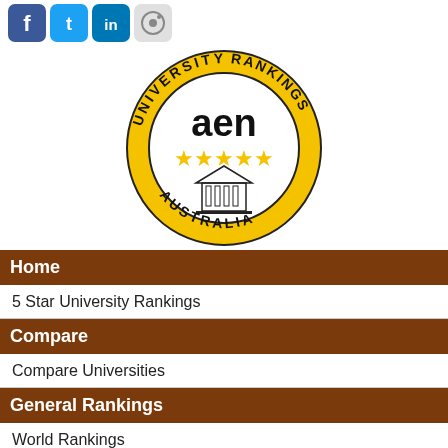[Figure (logo): Social media icons: Facebook, Twitter, LinkedIn, Email/settings]
[Figure (logo): AEN University Rankings Australia circular logo with gold stars and university building illustration]
Home
5 Star University Rankings
Compare
Compare Universities
General Rankings
World Rankings
QS Australian Rankings
Times Rankings
Shanghai Rankings